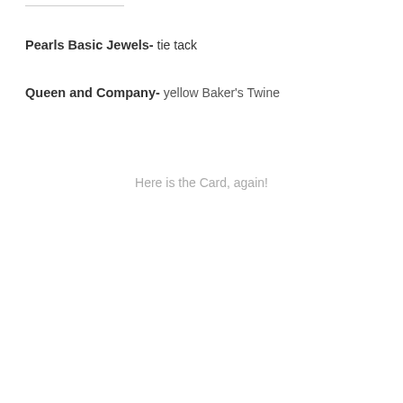Pearls Basic Jewels- tie tack
Queen and Company- yellow Baker's Twine
Here is the Card, again!